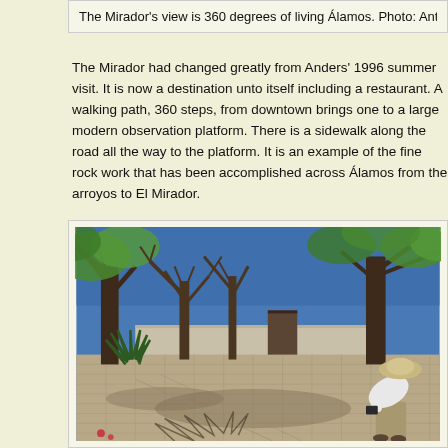The Mirador's view is 360 degrees of living Álamos. Photo: Antonio R
The Mirador had changed greatly from Anders' 1996 summer visit. It is now a destination unto itself including a restaurant. A walking path, 360 steps, from downtown brings one to a large modern observation platform. There is a sidewalk along the road all the way to the platform. It is an example of the fine rock work that has been accomplished across Álamos from the arroyos to El Mirador.
[Figure (photo): Outdoor scene showing a large paved courtyard with stone/brick paving, surrounded by trees including bare-branched trees and green-leafed trees. A white wall runs across the background. On the right side, a person in a white shirt and khaki pants and a wide-brimmed hat is bent over, possibly photographing something. Blue sky visible through the tree canopy.]